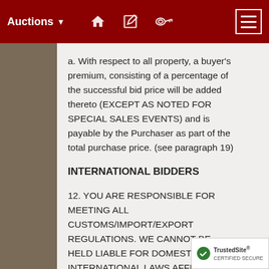Auctions
a. With respect to all property, a buyer's premium, consisting of a percentage of the successful bid price will be added thereto (EXCEPT AS NOTED FOR SPECIAL SALES EVENTS) and is payable by the Purchaser as part of the total purchase price. (see paragraph 19)
INTERNATIONAL BIDDERS
12. YOU ARE RESPONSIBLE FOR MEETING ALL CUSTOMS/IMPORT/EXPORT REGULATIONS. WE CANNOT BE HELD LIABLE FOR DOMESTIC OR INTERNATIONAL LAWS AFFECTING T